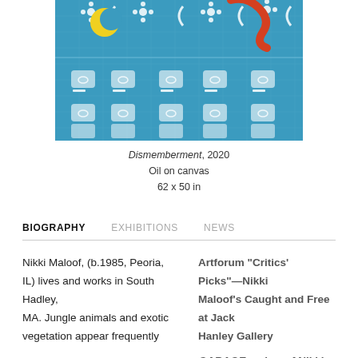[Figure (photo): Close-up detail of a colorful painting showing a blue tiled/patterned background with white abstract shapes, a yellow crescent moon, and an orange/red curved shape at the top.]
Dismemberment, 2020
Oil on canvas
62 x 50 in
BIOGRAPHY   EXHIBITIONS   NEWS
Nikki Maloof, (b.1985, Peoria, IL) lives and works in South Hadley, MA. Jungle animals and exotic vegetation appear frequently
Artforum "Critics' Picks"—Nikki Maloof's Caught and Free at Jack Hanley Gallery
GARAGE review of Nikki